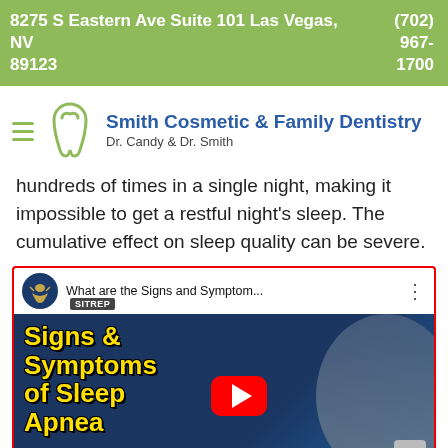8275 S Eastern Ave Suite 101 Las Vegas, NV 89123   (702) 967-1700
[Figure (logo): Smith Cosmetic & Family Dentistry logo with tooth icon and hamburger menu]
hundreds of times in a single night, making it impossible to get a restful night's sleep. The cumulative effect on sleep quality can be severe.
[Figure (screenshot): YouTube video thumbnail titled 'What are the Signs and Symptom...' with SITREP badge, showing 'Signs & Symptoms of Sleep Apnea' text in yellow on blue background with a man smiling on the right side. Red YouTube play button in center. VA eagle logo as channel icon.]